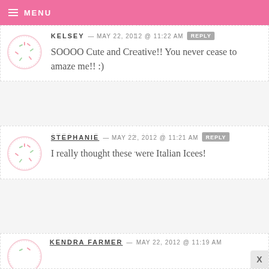MENU
KELSEY — MAY 22, 2012 @ 11:22 AM REPLY
SOOOO Cute and Creative!! You never cease to amaze me!! :)
STEPHANIE — MAY 22, 2012 @ 11:21 AM REPLY
I really thought these were Italian Icees!
KENDRA FARMER — MAY 22, 2012 @ 11:19 AM